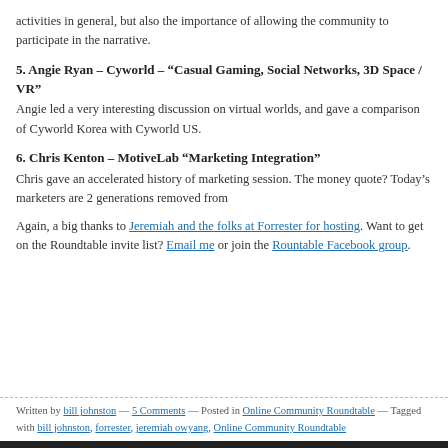activities in general, but also the importance of allowing the community to participate in the narrative.
5. Angie Ryan – Cyworld – “Casual Gaming, Social Networks, 3D Space / VR”
Angie led a very interesting discussion on virtual worlds, and gave a comparison of Cyworld Korea with Cyworld US.
6. Chris Kenton – MotiveLab “Marketing Integration”
Chris gave an accelerated history of marketing session. The money quote? Today’s marketers are 2 generations removed from
Again, a big thanks to Jeremiah and the folks at Forrester for hosting. Want to get on the Roundtable invite list? Email me or join the Rountable Facebook group.
Written by bill johnston — 5 Comments — Posted in Online Community Roundtable — Tagged with bill johnston, forrester, jeremiah owyang, Online Community Roundtable